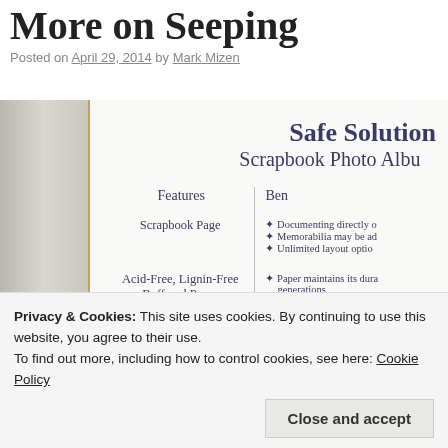More on Seeping
Posted on April 29, 2014 by Mark Mizen
[Figure (photo): Close-up photograph of a product label for a 'Safe Solution Scrapbook Photo Album' showing a features and benefits table with: Scrapbook Page, Acid-Free Lignin-Free Buffered Paper, Reinforced Edges listed as features, with corresponding benefits partially visible.]
Privacy & Cookies: This site uses cookies. By continuing to use this website, you agree to their use.
To find out more, including how to control cookies, see here: Cookie Policy